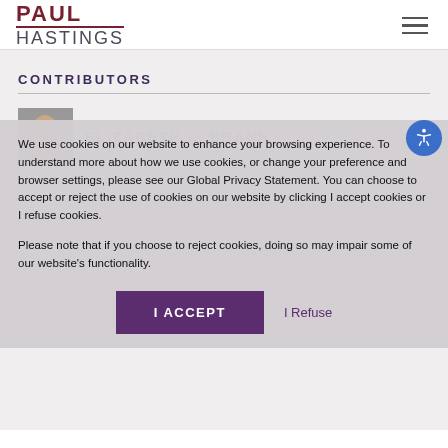PAUL HASTINGS
CONTRIBUTORS
ELIZABETH L. BRANN
We use cookies on our website to enhance your browsing experience. To understand more about how we use cookies, or change your preference and browser settings, please see our Global Privacy Statement. You can choose to accept or reject the use of cookies on our website by clicking I accept cookies or I refuse cookies.
Please note that if you choose to reject cookies, doing so may impair some of our website's functionality.